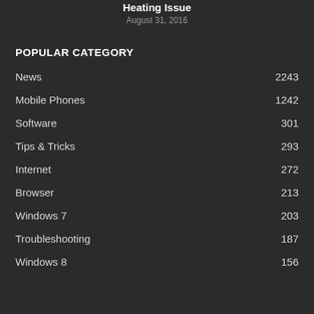Heating Issue
August 31, 2016
POPULAR CATEGORY
News 2243
Mobile Phones 1242
Software 301
Tips & Tricks 293
Internet 272
Browser 213
Windows 7 203
Troubleshooting 187
Windows 8 156